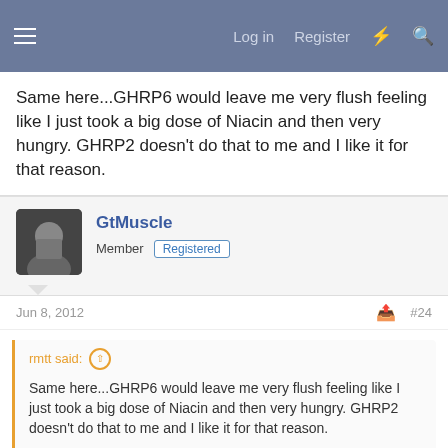Log in  Register
Same here...GHRP6 would leave me very flush feeling like I just took a big dose of Niacin and then very hungry. GHRP2 doesn't do that to me and I like it for that reason.
GtMuscle
Member  Registered
Jun 8, 2012  #24
rmtt said:
Same here...GHRP6 would leave me very flush feeling like I just took a big dose of Niacin and then very hungry. GHRP2 doesn't do that to me and I like it for that reason.
Excatly, I think GHRP6/Hexarelin is the choice when you are in a buling cycle, when you are in cutting cycle or just you don't